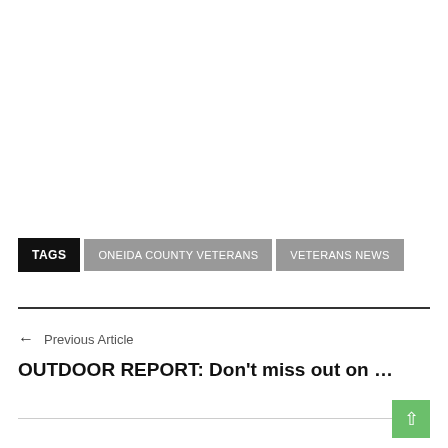TAGS  ONEIDA COUNTY VETERANS  VETERANS NEWS
← Previous Article
OUTDOOR REPORT: Don't miss out on …